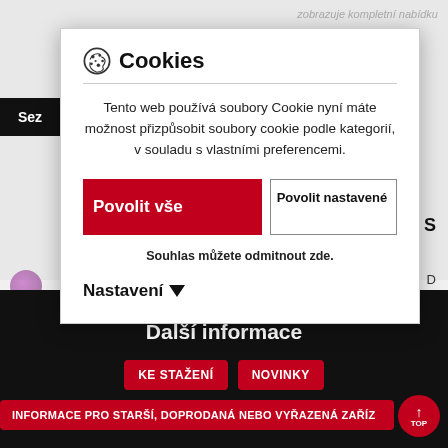[Figure (screenshot): Partial website screenshot showing background page with dark banner, product listing area, and dark footer section]
Cookies
Tento web používá soubory Cookie nyní máte možnost přizpůsobit soubory cookie podle kategorií, v souladu s vlastními preferencemi.
Povolit vše
Povolit nastavené
Souhlas můžete odmitnout zde.
Nastavení ▼
Další informace
KE STAŽENÍ
NOVINKY
INFORMACE PRO STARŠÍ, DOPRODANÁ NEBO VYŘAZENÁ ZAŘÍZ